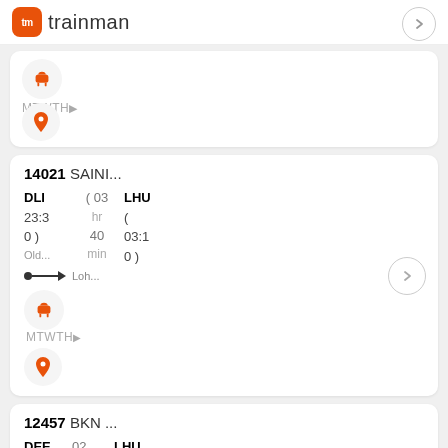[Figure (logo): Trainman app logo with orange tm icon and brand name trainman]
[Figure (screenshot): Partial train card with seat icon, days MTWTH, and location pin]
14021 SAINI...
DLI ( 03 LHU
23:3 hr (
0 ) 40 03:1
Old... min 0 )
→ Loh...
[Figure (screenshot): Seat icon, days MTWTH, location pin for train 14021]
12457 BKN ...
DEE 02 LHU